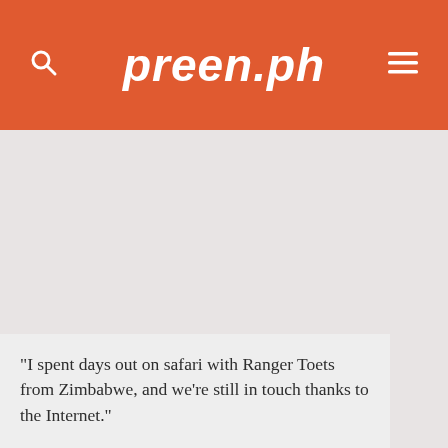preen.ph
[Figure (other): Large gray blank image placeholder area below the header]
"I spent days out on safari with Ranger Toets from Zimbabwe, and we're still in touch thanks to the Internet."